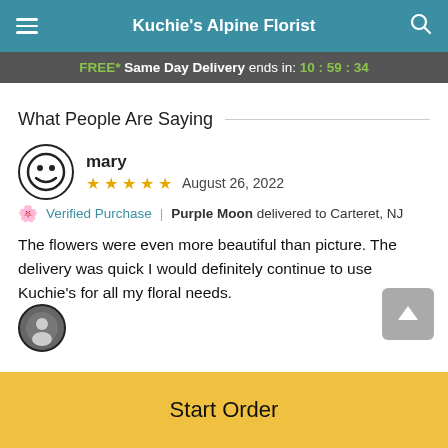Kuchie's Alpine Florist
FREE* Same Day Delivery ends in: 10:59:34
What People Are Saying
mary  ★★★★★  August 26, 2022
Verified Purchase | Purple Moon delivered to Carteret, NJ
The flowers were even more beautiful than picture. The delivery was quick I would definitely continue to use Kuchie's for all my floral needs.
Start Order